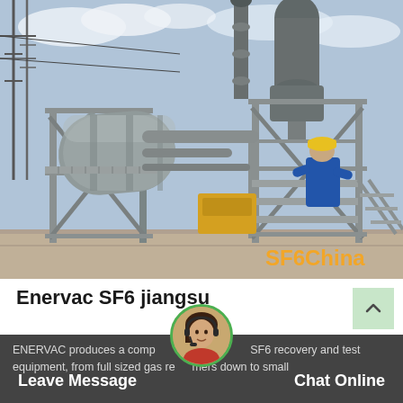[Figure (photo): Industrial SF6 gas handling equipment at an outdoor electrical substation. Large grey cylindrical tank on a steel frame structure with cross-bracing, connected piping, and metal grating platforms. A worker in blue overalls and yellow hard hat is working on the equipment. Power line towers visible in background. 'SF6China' watermark in orange at bottom right.]
Enervac SF6 jiangsu
ENERVAC produces a complete line of SF6 recovery and test equipment, from full sized gas reclaimers down to small